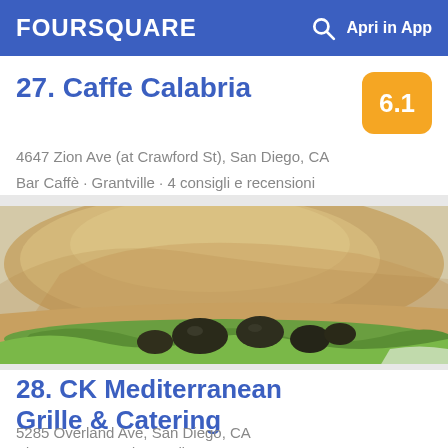FOURSQUARE  Apri in App
27. Caffe Calabria
4647 Zion Ave (at Crawford St), San Diego, CA
Bar Caffè · Grantville · 4 consigli e recensioni
[Figure (photo): Close-up photo of a pita bread sandwich filled with dark olives or grilled vegetables on a white plate, with green lettuce visible]
28. CK Mediterranean Grille & Catering
5285 Overland Ave, San Diego, CA
Ristorante con cucina mediterranea · Kearny Mesa